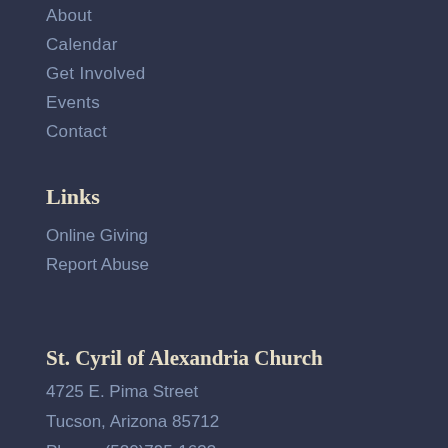About
Calendar
Get Involved
Events
Contact
Links
Online Giving
Report Abuse
St. Cyril of Alexandria Church
4725 E. Pima Street
Tucson, Arizona 85712
Phone: (520)795-1633
Fax: (520)795-1639
Parish Office Hours